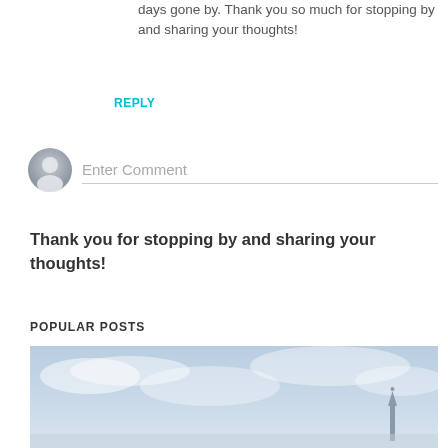days gone by. Thank you so much for stopping by and sharing your thoughts!
REPLY
[Figure (illustration): Gray avatar/profile placeholder icon in a circle, representing a user comment avatar]
Enter Comment
Thank you for stopping by and sharing your thoughts!
POPULAR POSTS
[Figure (photo): A sky photo with light blue tones and a tower/spire visible in the lower right portion of the image]